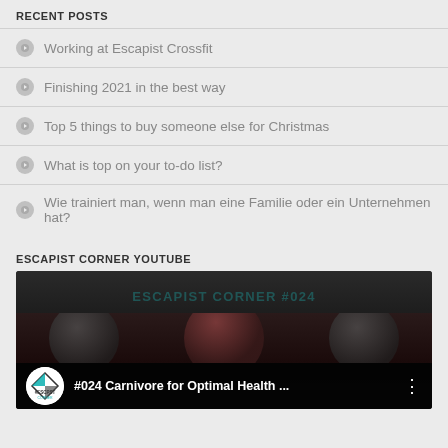RECENT POSTS
Working at Escapist Crossfit
Finishing 2021 in the best way
Top 5 things to buy someone else for Christmas
What is top on your to-do list?
Wie trainiert man, wenn man eine Familie oder ein Unternehmen hat?
ESCAPIST CORNER YOUTUBE
[Figure (screenshot): YouTube video thumbnail for '#024 Carnivore for Optimal Health ...' from the Escapist Corner channel, showing channel logo with #ESCPST CORNER branding and three people in a dark background]